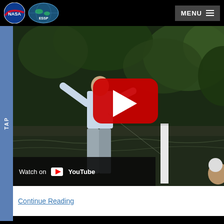NASA ESSP — MENU
[Figure (screenshot): NASA ESSP website screenshot showing a YouTube video embed of a person wading in water conducting field research, with a YouTube play button overlay and 'Watch on YouTube' bar at the bottom. A 'TAP' sidebar tab appears on the left.]
Watch on YouTube
Continue Reading